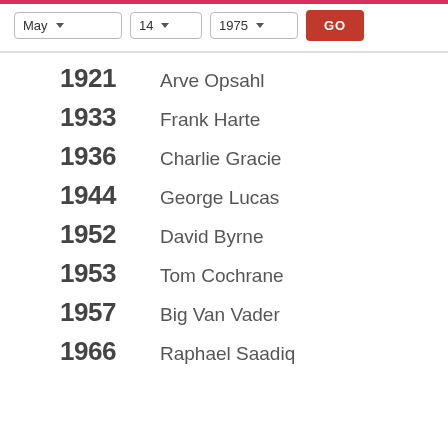May  14  1975  GO
1921  Arve Opsahl
1933  Frank Harte
1936  Charlie Gracie
1944  George Lucas
1952  David Byrne
1953  Tom Cochrane
1957  Big Van Vader
1966  Raphael Saadiq